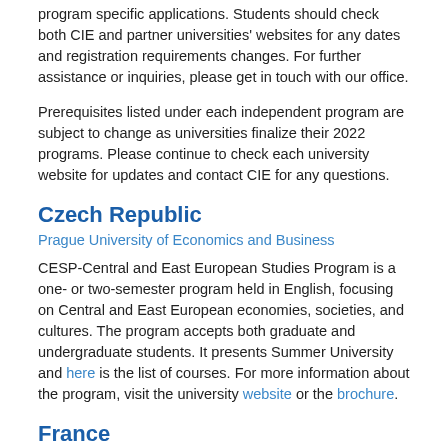program specific applications. Students should check both CIE and partner universities' websites for any dates and registration requirements changes. For further assistance or inquiries, please get in touch with our office.
Prerequisites listed under each independent program are subject to change as universities finalize their 2022 programs. Please continue to check each university website for updates and contact CIE for any questions.
Czech Republic
Prague University of Economics and Business
CESP-Central and East European Studies Program is a one- or two-semester program held in English, focusing on Central and East European economies, societies, and cultures. The program accepts both graduate and undergraduate students. It presents Summer University and here is the list of courses. For more information about the program, visit the university website or the brochure.
France